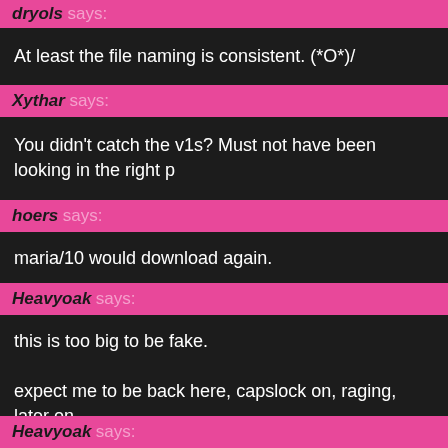dryols says:
At least the file naming is consistent. (*O*)/
Xythar says:
You didn't catch the v1s? Must not have been looking in the right p
hoers says:
maria/10 would download again.
Heavyoak says:
this is too big to be fake.

expect me to be back here, capslock on, raging, later on.
Heavyoak says: